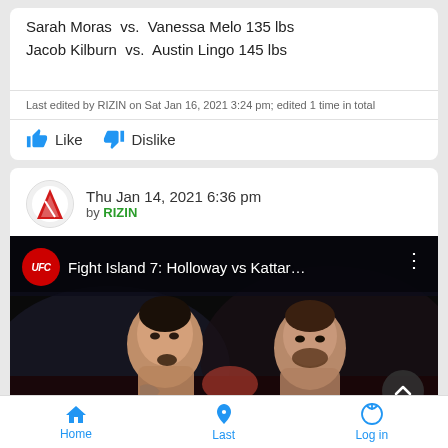Sarah Moras  vs.  Vanessa Melo 135 lbs
Jacob Kilburn  vs.  Austin Lingo 145 lbs
Last edited by RIZIN on Sat Jan 16, 2021 3:24 pm; edited 1 time in total
Like   Dislike
Thu Jan 14, 2021 6:36 pm
by RIZIN
[Figure (screenshot): UFC Fight Island 7: Holloway vs Kattar... YouTube video thumbnail showing two MMA fighters facing each other on a dark background with UFC logo badge in top-left corner.]
Home   Last   Log in